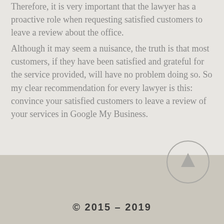Therefore, it is very important that the lawyer has a proactive role when requesting satisfied customers to leave a review about the office. Although it may seem a nuisance, the truth is that most customers, if they have been satisfied and grateful for the service provided, will have no problem doing so. So my clear recommendation for every lawyer is this: convince your satisfied customers to leave a review of your services in Google My Business.
© 2015 – 2019